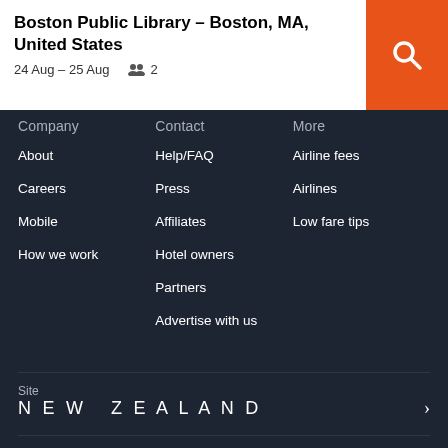Boston Public Library – Boston, MA, United States
24 Aug – 25 Aug   2
Company
Contact
More
About
Careers
Mobile
How we work
Help/FAQ
Press
Affiliates
Hotel owners
Partners
Advertise with us
Airline fees
Airlines
Low fare tips
Site
NEW ZEALAND
Currency